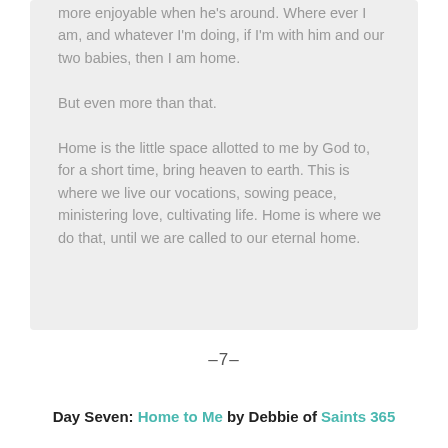more enjoyable when he's around. Where ever I am, and whatever I'm doing, if I'm with him and our two babies, then I am home.

But even more than that.

Home is the little space allotted to me by God to, for a short time, bring heaven to earth. This is where we live our vocations, sowing peace, ministering love, cultivating life. Home is where we do that, until we are called to our eternal home.
–7–
Day Seven: Home to Me by Debbie of Saints 365